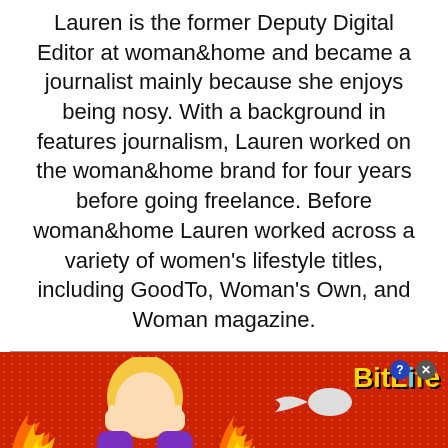Lauren is the former Deputy Digital Editor at woman&home and became a journalist mainly because she enjoys being nosy. With a background in features journalism, Lauren worked on the woman&home brand for four years before going freelance. Before woman&home Lauren worked across a variety of women's lifestyle titles, including GoodTo, Woman's Own, and Woman magazine.
[Figure (infographic): BitLife mobile game advertisement banner with red background, FAIL badge, cartoon character covering face, flames, sperm logo, BitLife logo in yellow, and 'START A NEW LIFE' text on black banner. Close and help buttons in top right.]